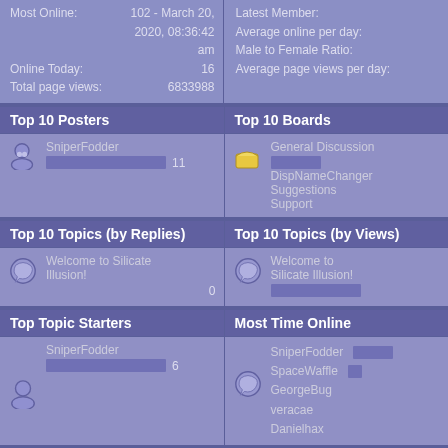Most Online: 102 - March 20, 2020, 08:36:42 am
Online Today: 16
Total page views: 6833988
Average online per day:
Male to Female Ratio:
Average page views per day:
Top 10 Posters
Top 10 Boards
SniperFodder  11
General Discussion
DispNameChanger
Suggestions
Support
Top 10 Topics (by Replies)
Top 10 Topics (by Views)
Welcome to Silicate Illusion!  0
Welcome to Silicate Illusion!
Top Topic Starters
Most Time Online
SniperFodder  6
SniperFodder
SpaceWaffle
GeorgeBug
veracae
Danielhax
Forum History (using forum time offset)
| Yearly Summary | New Topics | New Posts | New Members | Most Online |
| --- | --- | --- | --- | --- |